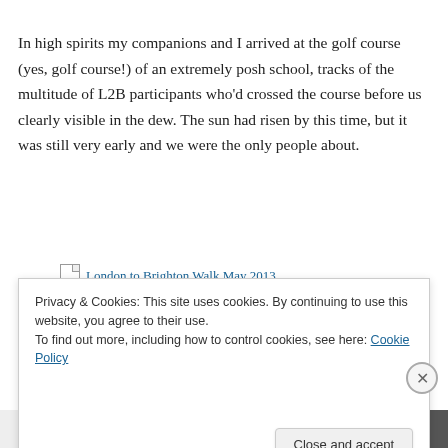In high spirits my companions and I arrived at the golf course (yes, golf course!) of an extremely posh school, tracks of the multitude of L2B participants who'd crossed the course before us clearly visible in the dew. The sun had risen by this time, but it was still very early and we were the only people about.
London to Brighton Walk May 2013
Privacy & Cookies: This site uses cookies. By continuing to use this website, you agree to their use.
To find out more, including how to control cookies, see here: Cookie Policy
Close and accept